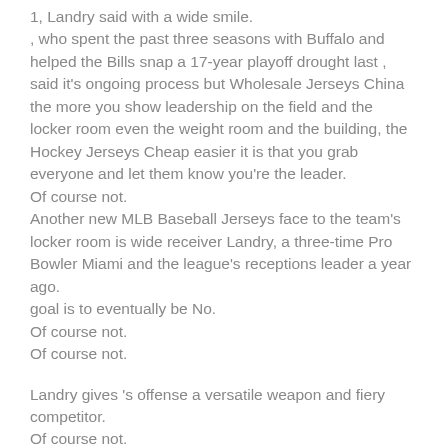1, Landry said with a wide smile.
, who spent the past three seasons with Buffalo and helped the Bills snap a 17-year playoff drought last , said it's ongoing process but Wholesale Jerseys China the more you show leadership on the field and the locker room even the weight room and the building, the Hockey Jerseys Cheap easier it is that you grab everyone and let them know you're the leader.
Of course not.
Another new MLB Baseball Jerseys face to the team's locker room is wide receiver Landry, a three-time Pro Bowler Miami and the league's receptions leader a year ago.
goal is to eventually be No.
Of course not.
Of course not.
Landry gives 's offense a versatile weapon and fiery competitor.
Of course not.
Fix this get change about Part 2 of the Grapes LOT b...